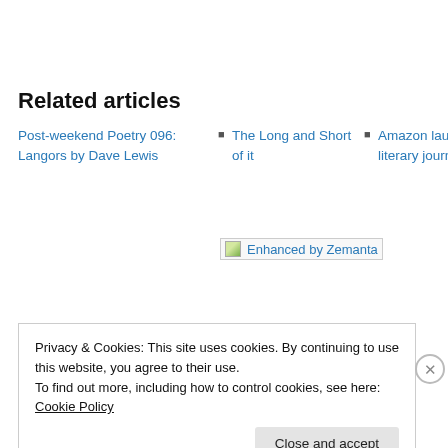Related articles
Post-weekend Poetry 096: Langors by Dave Lewis
The Long and Short of it
Amazon launches literary journal
[Figure (other): Enhanced by Zemanta logo/badge image]
Privacy & Cookies: This site uses cookies. By continuing to use this website, you agree to their use.
To find out more, including how to control cookies, see here: Cookie Policy
Close and accept